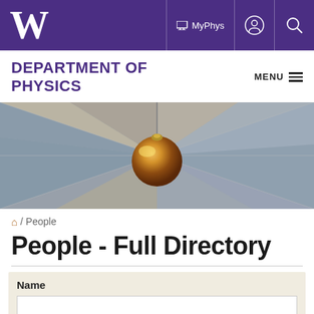W  MyPhys (account icon) (search icon)
DEPARTMENT OF PHYSICS
[Figure (photo): Close-up overhead photo of a large copper/gold Foucault pendulum ball suspended from ceiling, with radiating geometric tiled floor pattern in muted colors below]
🏠 / People
People - Full Directory
| Name |
| --- |